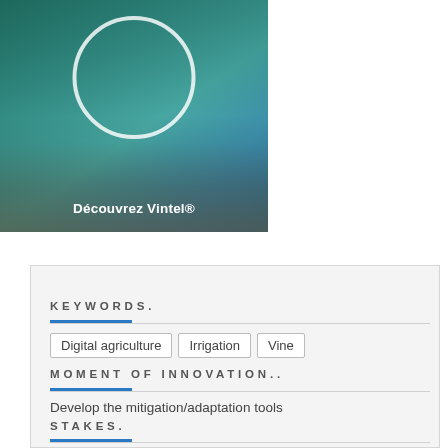[Figure (photo): Hand holding a tablet/mobile device with a circular magnifier overlay, teal/blue-green toned photo with text 'Découvrez Vintel®' at bottom]
Découvrez Vintel®
KEYWORDS.
Digital agriculture   Irrigation   Vine
MOMENT OF INNOVATION..
Develop the mitigation/adaptation tools
STAKES.
Adaptation to climate change
INNOVATION STATUS